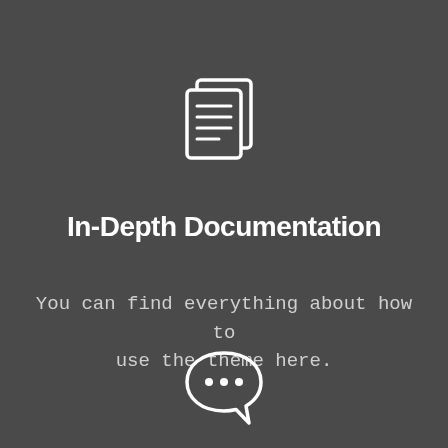[Figure (illustration): White outline icon of two overlapping document pages with horizontal lines representing text]
In-Depth Documentation
You can find everything about how to use the theme here.
[Figure (illustration): White outline icon of a speech bubble with three dots (ellipsis) inside]